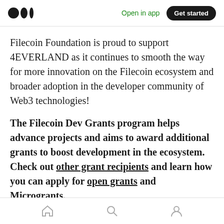Medium logo | Open in app | Get started
Filecoin Foundation is proud to support 4EVERLAND as it continues to smooth the way for more innovation on the Filecoin ecosystem and broader adoption in the developer community of Web3 technologies!
The Filecoin Dev Grants program helps advance projects and aims to award additional grants to boost development in the ecosystem. Check out other grant recipients and learn how you can apply for open grants and Microgrants.
Home | Search | Profile